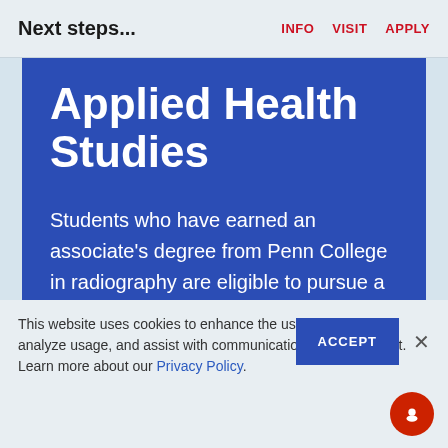Next steps...
INFO   VISIT   APPLY
Applied Health Studies
Students who have earned an associate’s degree from Penn College in radiography are eligible to pursue a bachelor’s degree in applied health studies. Students currently enrolled in the radiography program may work with their adviser to declare this major as dual degree, taking
This website uses cookies to enhance the user experience, analyze usage, and assist with communication and enrollment.
Learn more about our Privacy Policy.